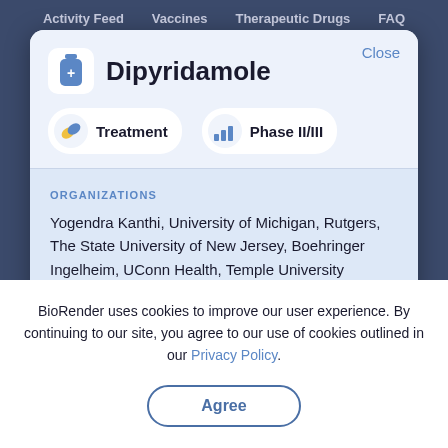Activity Feed   Vaccines   Therapeutic Drugs   FAQ
Dipyridamole
Treatment   Phase II/III
ORGANIZATIONS
Yogendra Kanthi, University of Michigan, Rutgers, The State University of New Jersey, Boehringer Ingelheim, UConn Health, Temple University
BioRender uses cookies to improve our user experience. By continuing to our site, you agree to our use of cookies outlined in our Privacy Policy.
Agree